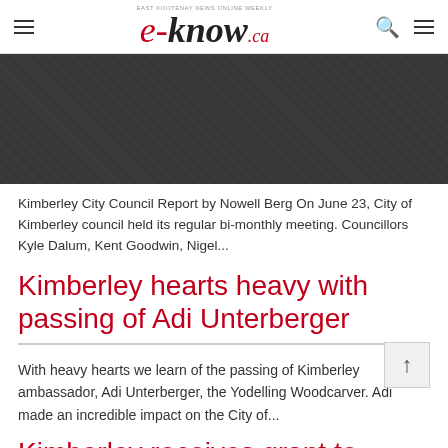e-know.ca — EAST KOOTENAY NEWS ONLINE WEEKLY
[Figure (photo): Dark textured banner area with diagonal pattern]
Kimberley City Council Report by Nowell Berg On June 23, City of Kimberley council held its regular bi-monthly meeting. Councillors Kyle Dalum, Kent Goodwin, Nigel...
Kimberley hearts heavy with passing of Adi Unterberger
With heavy hearts we learn of the passing of Kimberley ambassador, Adi Unterberger, the Yodelling Woodcarver. Adi made an incredible impact on the City of...
Kimberley receives grant to